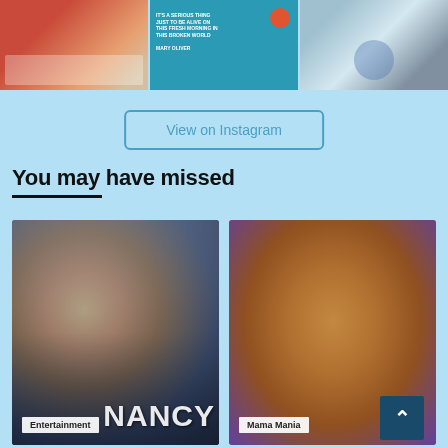[Figure (photo): Three Instagram photos in a row: left shows a woman in red holding papers, center shows a book cover with teal background and text 'It's a serious thing just to be alive on this fresh morning in this broken world - Mary Oliver' with a bird, right shows two boys in a classroom/kitchen setting]
View on Instagram
You may have missed
[Figure (photo): Entertainment card showing a woman with long blonde hair against a dark misty forest background, with 'NANCY' text overlay at bottom right and 'Entertainment' label at bottom left]
[Figure (photo): Mama Mania card showing a close-up of toasted sandwiches/grilled cheese on a blue plate, with 'Mama Mania' label at bottom left]